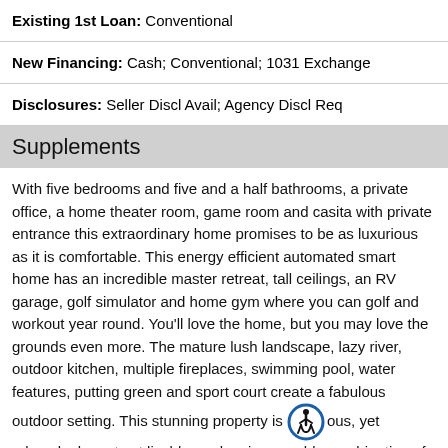Existing 1st Loan: Conventional
New Financing: Cash; Conventional; 1031 Exchange
Disclosures: Seller Discl Avail; Agency Discl Req
Supplements
With five bedrooms and five and a half bathrooms, a private office, a home theater room, game room and casita with private entrance this extraordinary home promises to be as luxurious as it is comfortable. This energy efficient automated smart home has an incredible master retreat, tall ceilings, an RV garage, golf simulator and home gym where you can golf and workout year round. You'll love the home, but you may love the grounds even more. The mature lush landscape, lazy river, outdoor kitchen, multiple fireplaces, swimming pool, water features, putting green and sport court create a fabulous outdoor setting. This stunning property is glorious, yet relaxed, elegant yet livable, and an impeccable combination of grandeur and great taste!